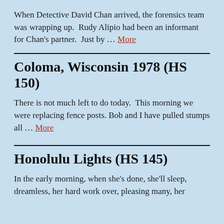When Detective David Chan arrived, the forensics team was wrapping up.  Rudy Alipio had been an informant for Chan's partner.  Just by … More
Coloma, Wisconsin 1978 (HS 150)
There is not much left to do today.  This morning we were replacing fence posts. Bob and I have pulled stumps all … More
Honolulu Lights (HS 145)
In the early morning, when she's done, she'll sleep, dreamless, her hard work over, pleasing many, her